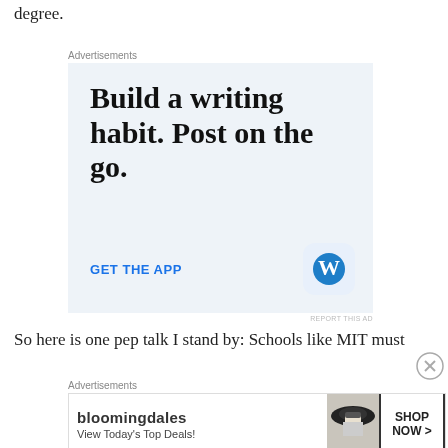degree.
[Figure (infographic): Advertisement for WordPress app: 'Build a writing habit. Post on the go. GET THE APP' with WordPress logo icon on light blue background]
So here is one pep talk I stand by: Schools like MIT must
[Figure (infographic): Advertisement banner for Bloomingdale's: 'View Today's Top Deals!' with SHOP NOW > button and image of woman in hat]